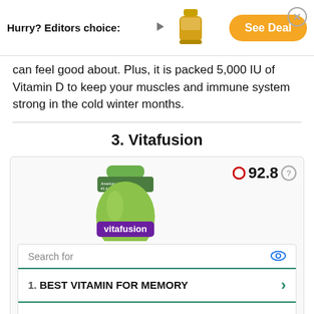[Figure (other): Advertisement banner: 'Hurry? Editors choice:' with arrow, product bottle image, and orange 'See Deal' button]
can feel good about. Plus, it is packed 5,000 IU of Vitamin D to keep your muscles and immune system strong in the cold winter months.
3. Vitafusion
[Figure (photo): Vitafusion gummy vitamin bottle (green) with score 92.8 displayed in the top right]
[Figure (other): Search advertisement block: 'Search for' header, row 1: BEST VITAMIN FOR MEMORY, row 2: SHOP VITAMIN D SUPPLEMENTS, footer: Ad | Business Focus]